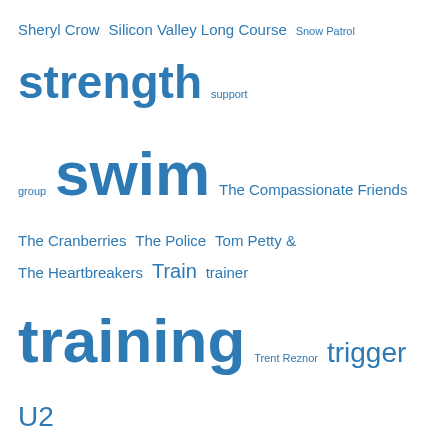Sheryl Crow Silicon Valley Long Course Snow Patrol strength support group swim The Compassionate Friends The Cranberries The Police Tom Petty & The Heartbreakers Train trainer training Trent Reznor trigger U2 USAT workout
Search this Blog
Search
Privacy & Cookies: This site uses cookies. By continuing to use this website, you agree to their use. To find out more, including how to control cookies, see here: Cookie Policy
Close and accept